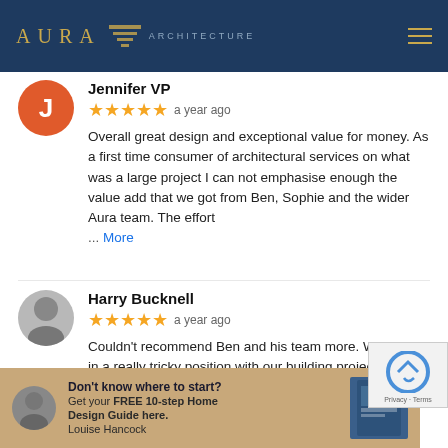[Figure (logo): Aura Architecture logo with golden text on dark navy background]
Jennifer VP
★★★★★  a year ago
Overall great design and exceptional value for money. As a first time consumer of architectural services on what was a large project I can not emphasise enough the value add that we got from Ben, Sophie and the wider Aura team. The effort ... More
Harry Bucknell
★★★★★  a year ago
Couldn't recommend Ben and his team more. We were in a really tricky position with our building project and Ben navigated us safely out of it. Superb guidance, great technical knowledge and what I really valued the most was the communication.
Don't know where to start? Get your FREE 10-step Home Design Guide here. Louise Hancock